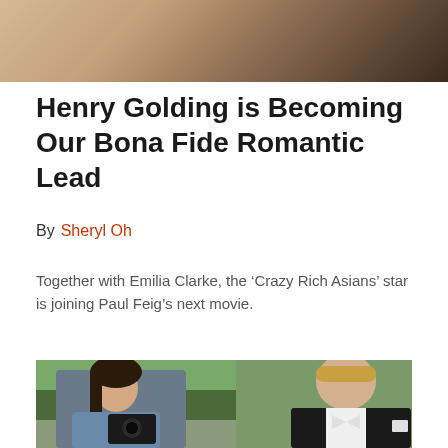[Figure (photo): Top portion of a photo showing a person in a suit jacket, cropped at chest/shoulder level with warm background tones]
Henry Golding is Becoming Our Bona Fide Romantic Lead
By  Sheryl Oh
Together with Emilia Clarke, the ‘Crazy Rich Asians’ star is joining Paul Feig’s next movie.
[Figure (photo): Two women outdoors with green trees in background. Left: young woman with dark hair wearing denim jacket, holding a DSLR camera. Right: blonde woman wearing a black tuxedo suit with white bow tie and pocket square, looking confidently to the side.]